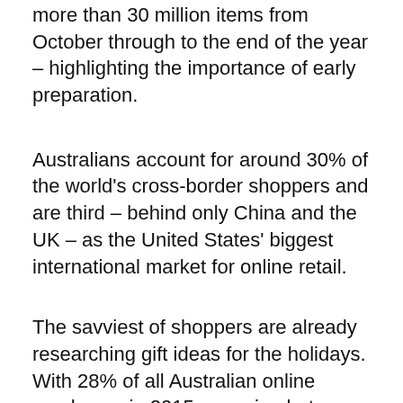more than 30 million items from October through to the end of the year – highlighting the importance of early preparation.
Australians account for around 30% of the world's cross-border shoppers and are third – behind only China and the UK – as the United States' biggest international market for online retail.
The savviest of shoppers are already researching gift ideas for the holidays. With 28% of all Australian online purchases in 2015 occurring between October and December, shoppers will soon be online, browsing retail